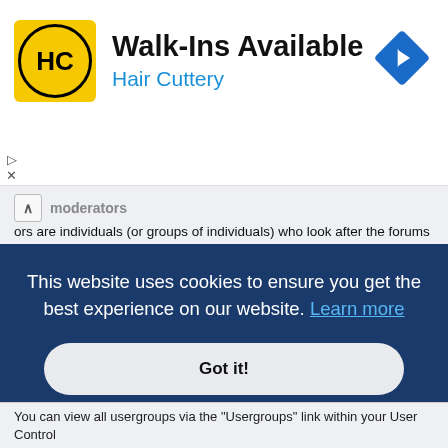[Figure (logo): Hair Cuttery advertisement banner with HC logo, 'Walk-Ins Available' heading, 'Hair Cuttery' subheading, and a navigation arrow icon]
moderators
ors are individuals (or groups of individuals) who look after the forums from day to day. They have the authority to edit or delete posts and lock, unlock, move, delete and split topics in the forum they moderate. Generally, moderators are present to prevent users from going off-topic or posting abusive or offensive material.
Top
What are usergroups?
Usergroups are groups of users that divide the community into manageable sections board administrators can work with. Each user can belong to several
This website uses cookies to ensure you get the best experience on our website. Learn more
Got it!
You can view all usergroups via the "Usergroups" link within your User Control